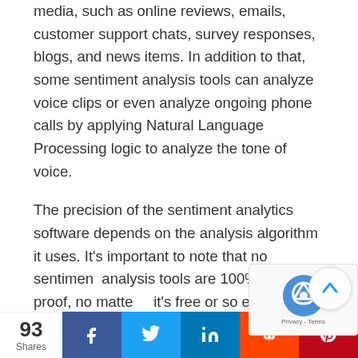media, such as online reviews, emails, customer support chats, survey responses, blogs, and news items. In addition to that, some sentiment analysis tools can analyze voice clips or even analyze ongoing phone calls by applying Natural Language Processing logic to analyze the tone of voice.
The precision of the sentiment analytics software depends on the analysis algorithm it uses. It's important to note that no sentiment analysis tools are 100% error-proof, no matter if it's free or so expensive you can barely justify i… People often use sarcasm and slang in their
93 Shares